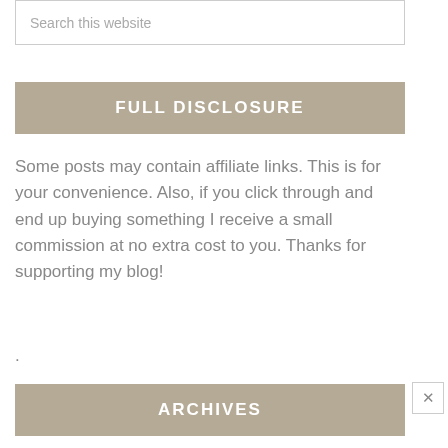Search this website
FULL DISCLOSURE
Some posts may contain affiliate links. This is for your convenience. Also, if you click through and end up buying something I receive a small commission at no extra cost to you. Thanks for supporting my blog!
.
ARCHIVES